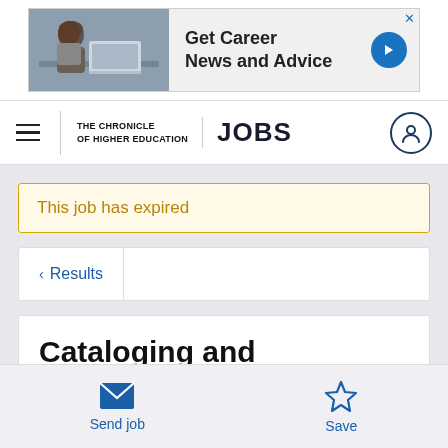[Figure (screenshot): Advertisement banner: woman working at laptop, text 'Get Career News and Advice' with blue arrow button and X close button]
THE CHRONICLE OF HIGHER EDUCATION | JOBS
This job has expired
< Results
Cataloging and Acquisitions
Send job
Save